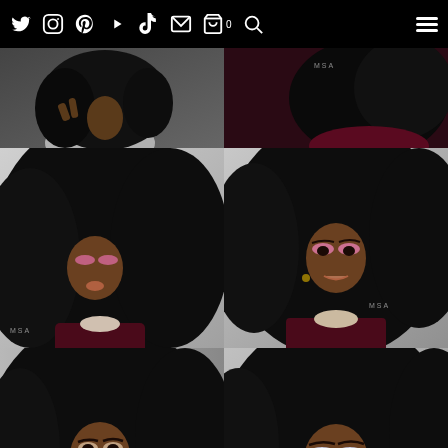Navigation bar with social media icons: Twitter, Instagram, Pinterest, YouTube, TikTok, Email, Shopping Cart (0), Search, and hamburger menu
[Figure (photo): Grid of 6 makeup/beauty photos of a Black woman with voluminous curly hair. Top row: left photo shows woman in gray top gesturing at hair; right photo shows woman in dark burgundy cutout top, side/back view of hair. Middle row: left photo shows woman looking down with pink eye makeup and burgundy cutout top; right photo shows woman facing forward with pink eye makeup and burgundy cutout top, MSA watermark. Bottom row: left photo shows woman with natural makeup and magenta lipstick; right photo shows woman with glittery eye makeup and magenta lipstick, eyes closed.]